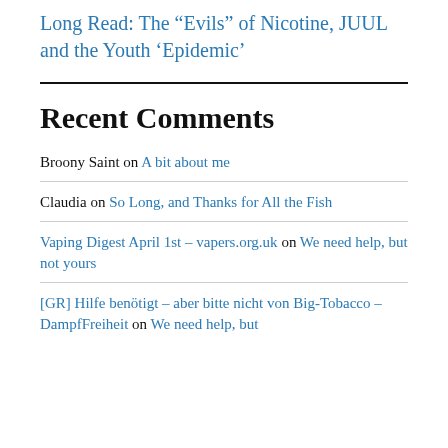Long Read: The “Evils” of Nicotine, JUUL and the Youth ‘Epidemic’
Recent Comments
Broony Saint on A bit about me
Claudia on So Long, and Thanks for All the Fish
Vaping Digest April 1st – vapers.org.uk on We need help, but not yours
[GR] Hilfe benötigt – aber bitte nicht von Big-Tobacco – DampfFreiheit on We need help, but